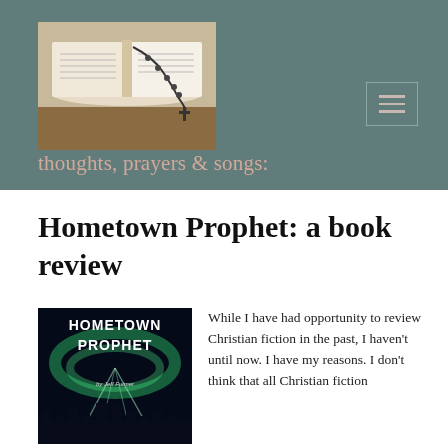[Figure (photo): Open Bible with rosary beads/cross draped across it on a wooden table]
thoughts, prayers & songs:
Hometown Prophet: a book review
[Figure (photo): Book cover of 'Hometown Prophet' by Jeff Fulmer, showing northern lights over a city skyline]
While I have had opportunity to review Christian fiction in the past, I haven't until now. I have my reasons.  I don't think that all Christian fiction